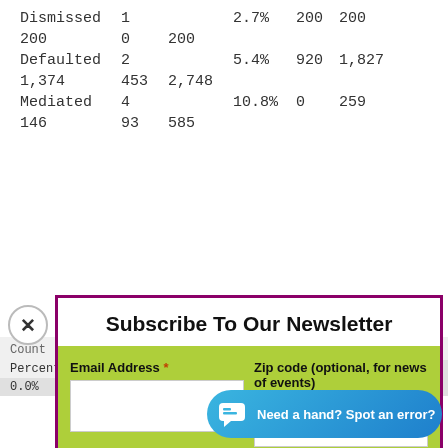| Dismissed | 1 |  | 2.7% | 200 | 200 |
| 200 | 0 | 200 |  |  |  |
| Defaulted | 2 |  | 5.4% | 920 | 1,827 |
| 1,374 | 453 | 2,748 |  |  |  |
| Mediated | 4 |  | 10.8% | 0 | 259 |
| 146 | 93 | 585 |  |  |  |
[Figure (screenshot): Newsletter subscription modal overlay with email address field, zip code field, and Subscribe button]
| Count | Percentage of Judgments |
| --- | --- |
| Percentage of Di... | defendant |  |
| 0.0% |  | 0.0% |
[Figure (screenshot): Chat support widget: 'Need a hand? Spot an error?']